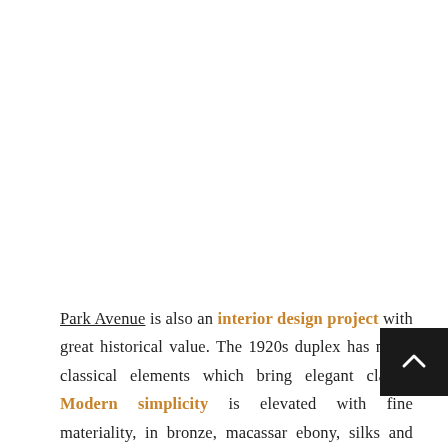Park Avenue is also an interior design project with great historical value. The 1920s duplex has many classical elements which bring elegant clarity. Modern simplicity is elevated with fine materiality, in bronze, macassar ebony, silks and velvets. An earthen palette, grounding and w... provides comfort and a homey feeling. This greatly balanced project is the perfect mix of